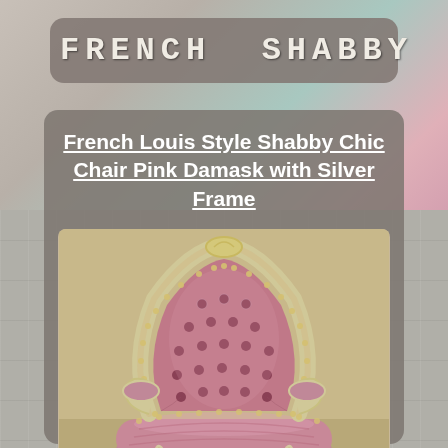FRENCH SHABBY CHIC
French Louis Style Shabby Chic Chair Pink Damask with Silver Frame
[Figure (photo): French Louis style armchair with pink damask tufted upholstery and silver/gilt painted carved wood frame, viewed from front, showing tufted back and carved ornate details]